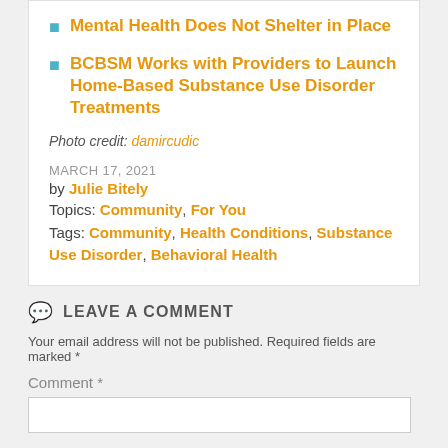Mental Health Does Not Shelter in Place
BCBSM Works with Providers to Launch Home-Based Substance Use Disorder Treatments
Photo credit: damircudic
MARCH 17, 2021
by Julie Bitely
Topics: Community, For You
Tags: Community, Health Conditions, Substance Use Disorder, Behavioral Health
LEAVE A COMMENT
Your email address will not be published. Required fields are marked *
Comment *